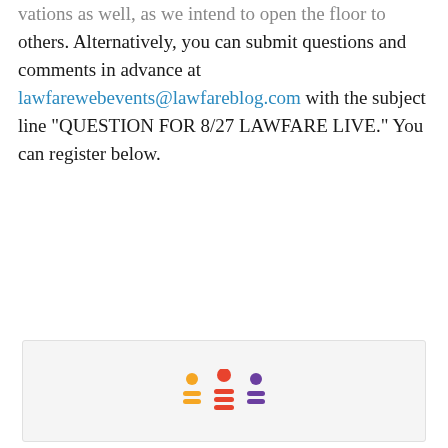vations as well, as we intend to open the floor to others. Alternatively, you can submit questions and comments in advance at lawfarewebevents@lawfareblog.com with the subject line "QUESTION FOR 8/27 LAWFARE LIVE." You can register below.
[Figure (illustration): Event registration embed widget area showing a stylized icon of three people (an audience/event icon) in orange, red, and purple colors, with horizontal lines representing text/content below each figure.]